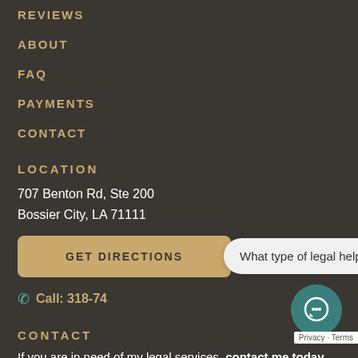REVIEWS
ABOUT
FAQ
PAYMENTS
CONTACT
LOCATION
707 Benton Rd, Ste 200
Bossier City, LA 71111
GET DIRECTIONS
Call: 318-74...
What type of legal help are you in need of?
CONTACT
If you are in need of my legal services, contact me today.